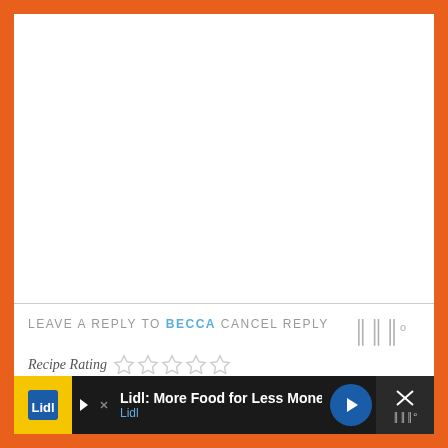[Figure (screenshot): White content area with orange border background. A watermark/logo 'WW°' appears in the right side of the white area.]
LEAVE A REPLY TO BECCA CANCEL REPLY
Recipe Rating ☆☆☆☆☆
[Figure (screenshot): Advertisement bar at bottom: Lidl: More Food for Less Money - Lidl app advertisement with yellow icon, blue navigation arrow, and close button with WW° watermark]